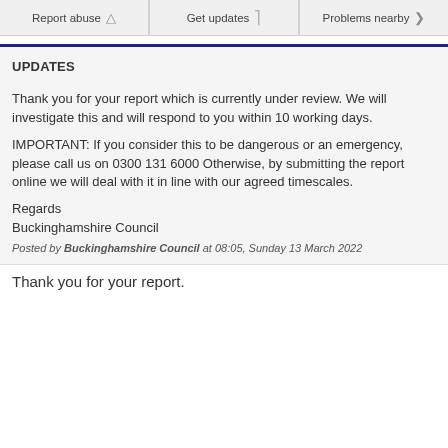Report abuse | Get updates | Problems nearby
UPDATES
Thank you for your report which is currently under review. We will investigate this and will respond to you within 10 working days.
IMPORTANT: If you consider this to be dangerous or an emergency, please call us on 0300 131 6000 Otherwise, by submitting the report online we will deal with it in line with our agreed timescales.
Regards
Buckinghamshire Council
Posted by Buckinghamshire Council at 08:05, Sunday 13 March 2022
Thank you for your report.